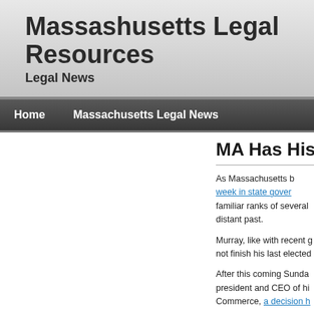Massashusetts Legal Resources
Legal News
Home    Massachusetts Legal News
MA Has Histo
As Massachusetts b… week in state gover… familiar ranks of several… distant past.
Murray, like with recent g… not finish his last elected…
After this coming Sunda… president and CEO of hi… Commerce, a decision h…
The decision once again… in early 2015.
Weld, a Republican left…